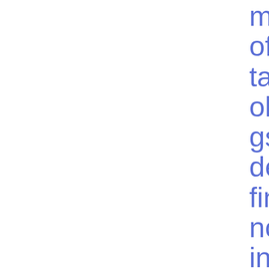ment of retail holdings of debt financial instruments subject to the Bank Recovery and Resolution